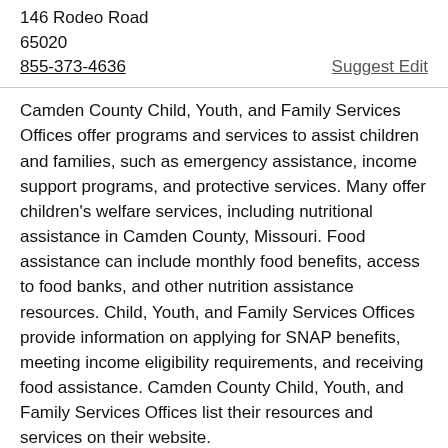146 Rodeo Road
65020
855-373-4636
Suggest Edit
Camden County Child, Youth, and Family Services Offices offer programs and services to assist children and families, such as emergency assistance, income support programs, and protective services. Many offer children's welfare services, including nutritional assistance in Camden County, Missouri. Food assistance can include monthly food benefits, access to food banks, and other nutrition assistance resources. Child, Youth, and Family Services Offices provide information on applying for SNAP benefits, meeting income eligibility requirements, and receiving food assistance. Camden County Child, Youth, and Family Services Offices list their resources and services on their website.
Macks Creek Youth Services Department
Macks Creek MO
13021 U.s. 54
65786
573-363-5352
Suggest Edit